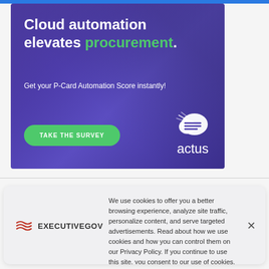[Figure (screenshot): Actus cloud automation advertisement banner with purple/blue gradient background. Title reads 'Cloud automation elevates procurement.' with a green 'TAKE THE SURVEY' button and the Actus logo.]
[Figure (screenshot): ExecutiveGov cookie consent dialog with logo on left side and cookie policy text on the right, with an X close button.]